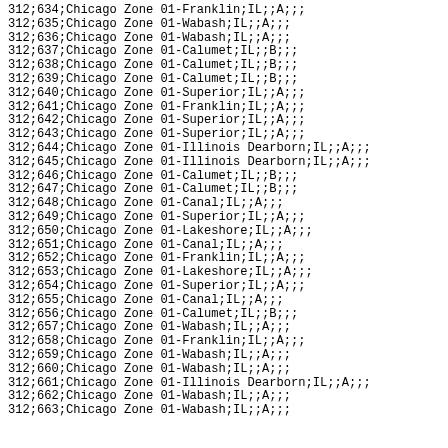312;634;Chicago Zone 01-Franklin;IL;;A;;;
312;635;Chicago Zone 01-Wabash;IL;;A;;;
312;636;Chicago Zone 01-Wabash;IL;;A;;;
312;637;Chicago Zone 01-Calumet;IL;;B;;;
312;638;Chicago Zone 01-Calumet;IL;;B;;;
312;639;Chicago Zone 01-Calumet;IL;;B;;;
312;640;Chicago Zone 01-Superior;IL;;A;;;
312;641;Chicago Zone 01-Franklin;IL;;A;;;
312;642;Chicago Zone 01-Superior;IL;;A;;;
312;643;Chicago Zone 01-Superior;IL;;A;;;
312;644;Chicago Zone 01-Illinois Dearborn;IL;;A;;;
312;645;Chicago Zone 01-Illinois Dearborn;IL;;A;;;
312;646;Chicago Zone 01-Calumet;IL;;B;;;
312;647;Chicago Zone 01-Calumet;IL;;B;;;
312;648;Chicago Zone 01-Canal;IL;;A;;;
312;649;Chicago Zone 01-Superior;IL;;A;;;
312;650;Chicago Zone 01-Lakeshore;IL;;A;;;
312;651;Chicago Zone 01-Canal;IL;;A;;;
312;652;Chicago Zone 01-Franklin;IL;;A;;;
312;653;Chicago Zone 01-Lakeshore;IL;;A;;;
312;654;Chicago Zone 01-Superior;IL;;A;;;
312;655;Chicago Zone 01-Canal;IL;;A;;;
312;656;Chicago Zone 01-Calumet;IL;;B;;;
312;657;Chicago Zone 01-Wabash;IL;;A;;;
312;658;Chicago Zone 01-Franklin;IL;;A;;;
312;659;Chicago Zone 01-Wabash;IL;;A;;;
312;660;Chicago Zone 01-Wabash;IL;;A;;;
312;661;Chicago Zone 01-Illinois Dearborn;IL;;A;;;
312;662;Chicago Zone 01-Wabash;IL;;A;;;
312;663;Chicago Zone 01-Wabash;IL;;A;;;